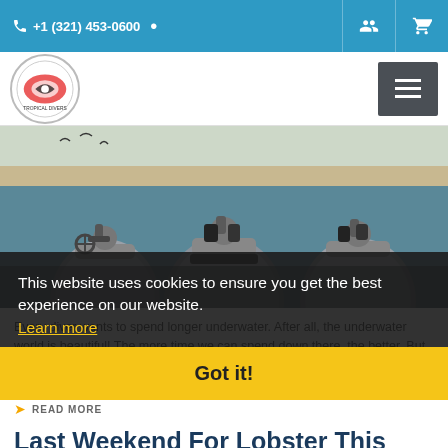+1 (321) 453-0600
[Figure (logo): Tropical Divers logo — circular badge with diver silhouette]
[Figure (photo): Multiple scuba air tanks lined up near a beach with water in background]
Every diver wants to spend longer underwater. After all, the underwater world is beautiful! The more time we can spend down there, the better. But, every body is different, and because of that, every person consumes air at a different rate. Still, [...]
READ MORE
Last Weekend For Lobster This
This website uses cookies to ensure you get the best experience on our website.
Learn more
Got it!